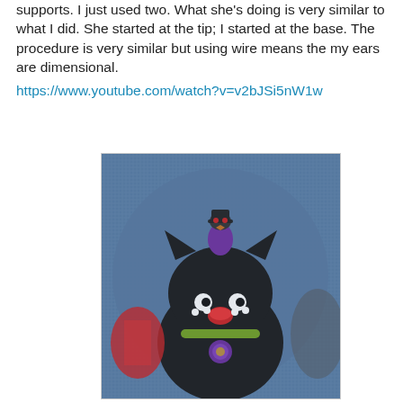supports.  I just used two.  What she's doing is very similar to what I did.  She started at the tip; I started at the base.  The procedure is very similar but using wire means the my ears are dimensional.
https://www.youtube.com/watch?v=v2bJSi5nW1w
[Figure (photo): A needlepoint or cross-stitch embroidery piece showing a black cat with a small purple owl on its head, a red nose, white whisker dots, and a green collar with a purple medallion. The background is blue canvas texture.]